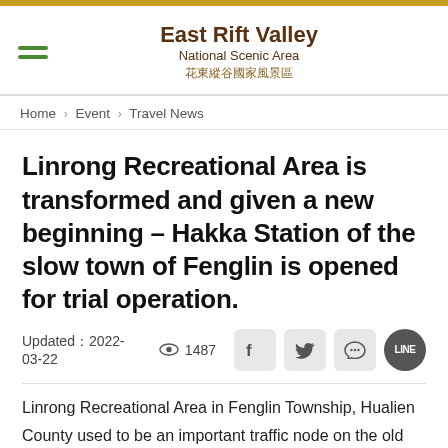East Rift Valley National Scenic Area 花東縱谷國家風景區
Home > Event > Travel News
Linrong Recreational Area is transformed and given a new beginning – Hakka Station of the slow town of Fenglin is opened for trial operation.
Updated：2022-03-22   1487
Linrong Recreational Area in Fenglin Township, Hualien County used to be an important traffic node on the old Provincial Highway 9. Being adjacent to the west side of